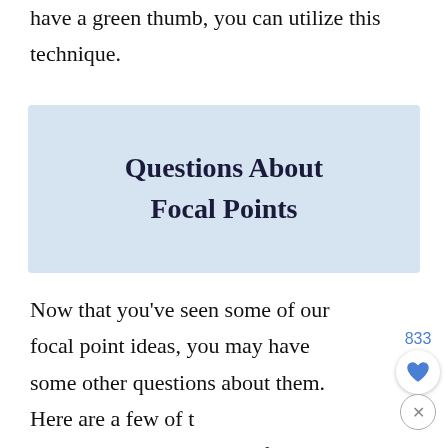have a green thumb, you can utilize this technique.
[Figure (other): Light blue banner box with centered heading text 'Questions About Focal Points' in dark serif font]
Now that you've seen some of our focal point ideas, you may have some other questions about them. Here are a few of the ones that are asked most often.